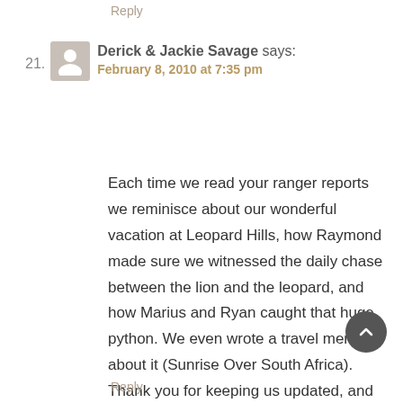Reply
21. Derick & Jackie Savage says: February 8, 2010 at 7:35 pm
Each time we read your ranger reports we reminisce about our wonderful vacation at Leopard Hills, how Raymond made sure we witnessed the daily chase between the lion and the leopard, and how Marius and Ryan caught that huge python. We even wrote a travel memoir about it (Sunrise Over South Africa). Thank you for keeping us updated, and we look forward to returning to your game reserve again.
Reply